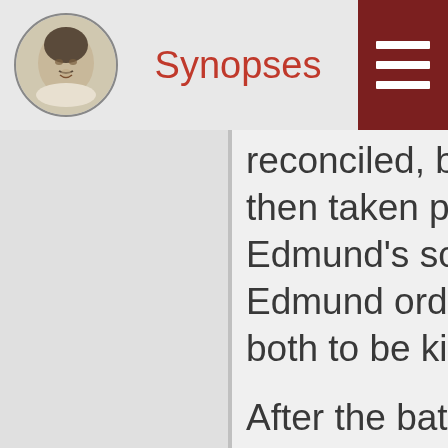Synopses
reconciled, but the then taken prisoner Edmund's soldiers, Edmund orders the both to be killed.
After the battle, G and Regan both encounter Edmund display their feelings him. Albany challenges Edmund, and a dis Edgar appears to f his Reconci